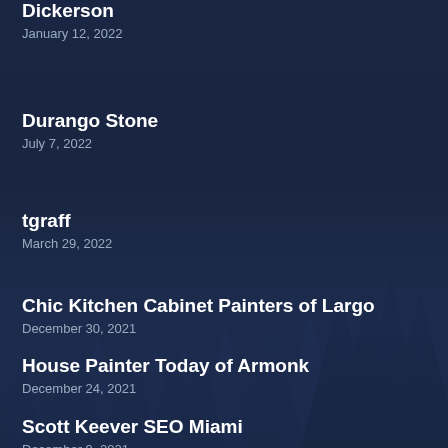Dickerson
January 12, 2022
Durango Stone
July 7, 2022
tgraff
March 29, 2022
Chic Kitchen Cabinet Painters of Largo
December 30, 2021
House Painter Today of Armonk
December 24, 2021
Scott Keever SEO Miami
December 9, 2021